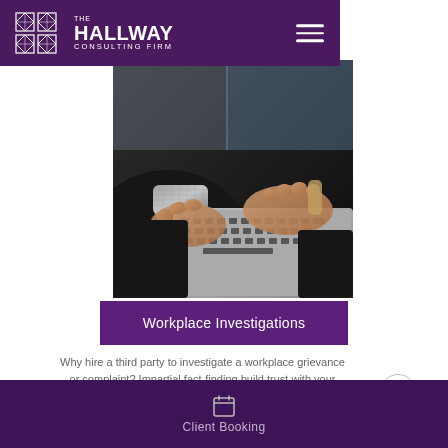THE HALLWAY CONSULTING FIRM
[Figure (photo): Close-up photo of hands typing on a laptop keyboard, person wearing a suit jacket and metallic bracelet]
Workplace Investigations
Why hire a third party to investigate a workplace grievance or complaint? Impartial fact-finding build trust with your workforce, and more time to focus on your core business. Our experience to help...
Client Booking